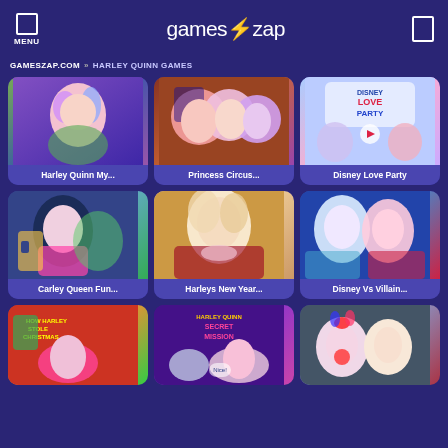MENU | games⚡zap
GAMESZAP.COM » HARLEY QUINN GAMES
[Figure (screenshot): Game thumbnail for Harley Quinn My...]
Harley Quinn My...
[Figure (screenshot): Game thumbnail for Princess Circus...]
Princess Circus...
[Figure (screenshot): Game thumbnail for Disney Love Party]
Disney Love Party
[Figure (screenshot): Game thumbnail for Carley Queen Fun...]
Carley Queen Fun...
[Figure (screenshot): Game thumbnail for Harleys New Year...]
Harleys New Year...
[Figure (screenshot): Game thumbnail for Disney Vs Villain...]
Disney Vs Villain...
[Figure (screenshot): Partial game thumbnail row at bottom]
[Figure (screenshot): Partial game thumbnail - Harley Quinn Secret Mission]
[Figure (screenshot): Partial game thumbnail - Harley Quinn clown]